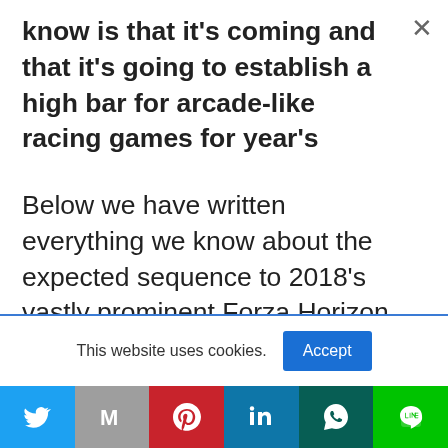know is that it's coming and that it's going to establish a high bar for arcade-like racing games for year's
Below we have written everything we know about the expected sequence to 2018's vastly prominent Forza Horizon 4. This means you should prepare and be expectant of whatever Playground Games and Xbox Game Studios are cooking up next for
This website uses cookies.
Accept